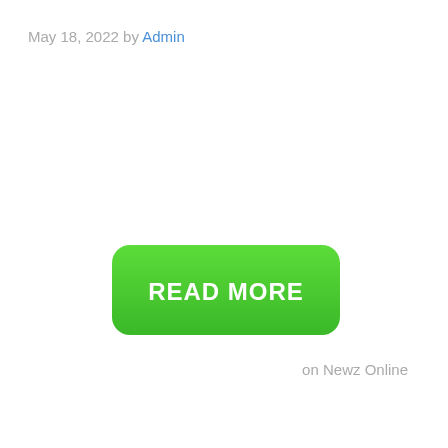May 18, 2022 by Admin
[Figure (other): Green rounded rectangle button with white bold text reading READ MORE]
on Newz Online